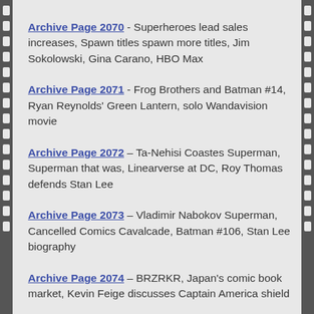Archive Page 2070 - Superheroes lead sales increases, Spawn titles spawn more titles, Jim Sokolowski, Gina Carano, HBO Max
Archive Page 2071 - Frog Brothers and Batman #14, Ryan Reynolds' Green Lantern, solo Wandavision movie
Archive Page 2072 – Ta-Nehisi Coastes Superman, Superman that was, Linearverse at DC, Roy Thomas defends Stan Lee
Archive Page 2073 – Vladimir Nabokov Superman, Cancelled Comics Cavalcade, Batman #106, Stan Lee biography
Archive Page 2074 – BRZRKR, Japan's comic book market, Kevin Feige discusses Captain America shield